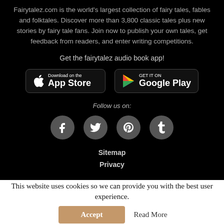Fairytalez.com is the world's largest collection of fairy tales, fables and folktales. Discover more than 3,800 classic tales plus new stories by fairy tale fans. Join now to publish your own tales, get feedback from readers, and enter writing competitions.
Get the fairytalez audio book app!
[Figure (logo): Download on the App Store button]
[Figure (logo): Get it on Google Play button]
Follow us on:
[Figure (other): Social media icons: Facebook, Twitter, Pinterest, Tumblr]
Sitemap
Privacy
This website uses cookies so we can provide you with the best user experience.
Accept
Read More